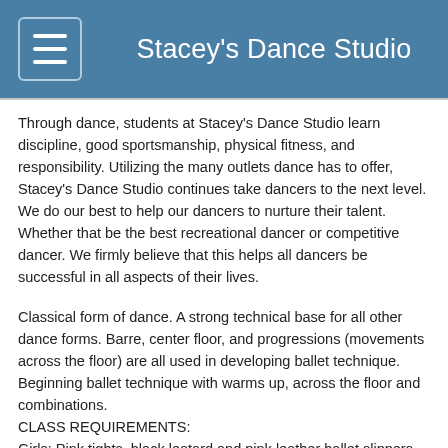Stacey's Dance Studio
Through dance, students at Stacey's Dance Studio learn discipline, good sportsmanship, physical fitness, and responsibility. Utilizing the many outlets dance has to offer, Stacey's Dance Studio continues take dancers to the next level. We do our best to help our dancers to nurture their talent. Whether that be the best recreational dancer or competitive dancer. We firmly believe that this helps all dancers be successful in all aspects of their lives.
Classical form of dance. A strong technical base for all other dance forms. Barre, center floor, and progressions (movements across the floor) are all used in developing ballet technique. Beginning ballet technique with warms up, across the floor and combinations. CLASS REQUIREMENTS: Girls: Pink tights, black leotard and pink leather ballet slippers, hair up. Boys: Black pants, white tank top and black ballet slippers. **Required for Class Force members.